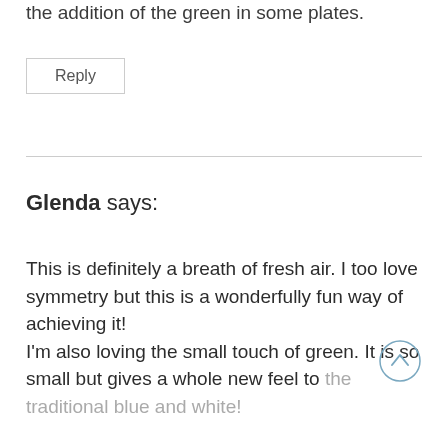the addition of the green in some plates.
Reply
Glenda says:
This is definitely a breath of fresh air. I too love symmetry but this is a wonderfully fun way of achieving it!
I'm also loving the small touch of green. It is so small but gives a whole new feel to the traditional blue and white!